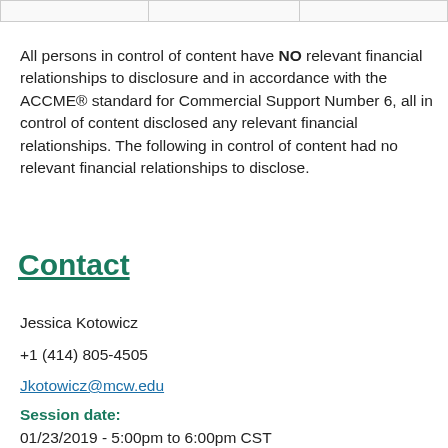|  |  |  |
| --- | --- | --- |
|  |  |  |
All persons in control of content have NO relevant financial relationships to disclosure and in accordance with the ACCME® standard for Commercial Support Number 6, all in control of content disclosed any relevant financial relationships. The following in control of content had no relevant financial relationships to disclose.
Contact
Jessica Kotowicz
+1 (414) 805-4505
Jkotowicz@mcw.edu
Session date:
01/23/2019 - 5:00pm to 6:00pm CST